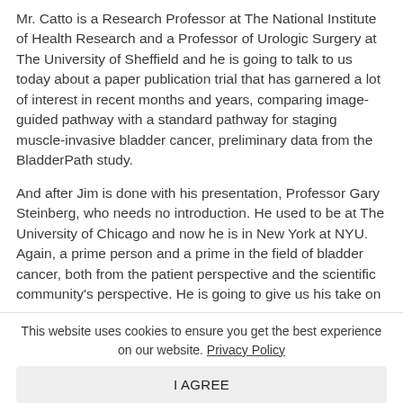Mr. Catto is a Research Professor at The National Institute of Health Research and a Professor of Urologic Surgery at The University of Sheffield and he is going to talk to us today about a paper publication trial that has garnered a lot of interest in recent months and years, comparing image-guided pathway with a standard pathway for staging muscle-invasive bladder cancer, preliminary data from the BladderPath study.
And after Jim is done with his presentation, Professor Gary Steinberg, who needs no introduction. He used to be at The University of Chicago and now he is in New York at NYU. Again, a prime person and a prime in the field of bladder cancer, both from the patient perspective and the scientific community's perspective. He is going to give us his take on why TRBT is still here to stay and really should not be done
This website uses cookies to ensure you get the best experience on our website. Privacy Policy
I AGREE